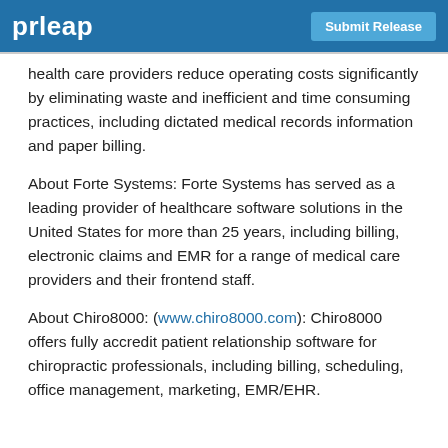prleap | Submit Release
health care providers reduce operating costs significantly by eliminating waste and inefficient and time consuming practices, including dictated medical records information and paper billing.
About Forte Systems: Forte Systems has served as a leading provider of healthcare software solutions in the United States for more than 25 years, including billing, electronic claims and EMR for a range of medical care providers and their frontend staff.
About Chiro8000: (www.chiro8000.com): Chiro8000 offers fully accredit patient relationship software for chiropractic professionals, including billing, scheduling, office management, marketing, EMR/EHR.